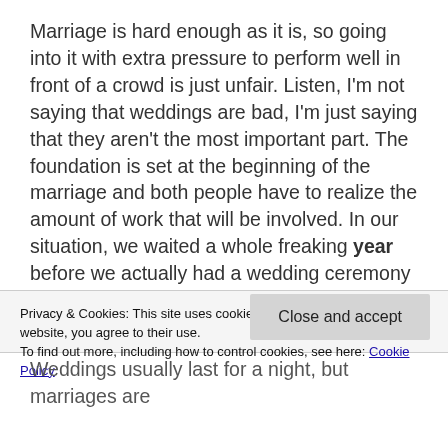Marriage is hard enough as it is, so going into it with extra pressure to perform well in front of a crowd is just unfair. Listen, I'm not saying that weddings are bad, I'm just saying that they aren't the most important part. The foundation is set at the beginning of the marriage and both people have to realize the amount of work that will be involved. In our situation, we waited a whole freaking year before we actually had a wedding ceremony simply because it was not at the top of
Privacy & Cookies: This site uses cookies. By continuing to use this website, you agree to their use.
To find out more, including how to control cookies, see here: Cookie Policy
Close and accept
Weddings usually last for a night, but marriages are